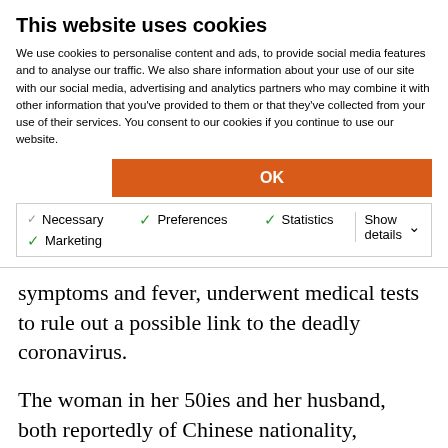This website uses cookies
We use cookies to personalise content and ads, to provide social media features and to analyse our traffic. We also share information about your use of our site with our social media, advertising and analytics partners who may combine it with other information that you’ve provided to them or that they’ve collected from your use of their services. You consent to our cookies if you continue to use our website.
OK
Necessary Preferences Statistics Marketing Show details
symptoms and fever, underwent medical tests to rule out a possible link to the deadly coronavirus.
The woman in her 50ies and her husband, both reportedly of Chinese nationality, boarded Costa Smeralda on Saturday, January 25, and were put in isolation on Wednesday night after coming down with the flu-like symptoms. The Italian